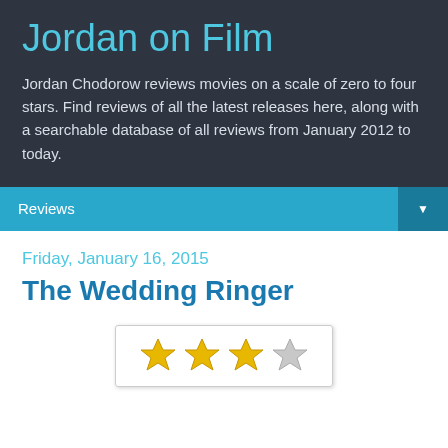Jordan on Film
Jordan Chodorow reviews movies on a scale of zero to four stars. Find reviews of all the latest releases here, along with a searchable database of all reviews from January 2012 to today.
Reviews
Friday, January 16, 2015
The Wedding Ringer
[Figure (other): Star rating showing 3 out of 4 gold stars and 1 silver/empty star in a bordered box]